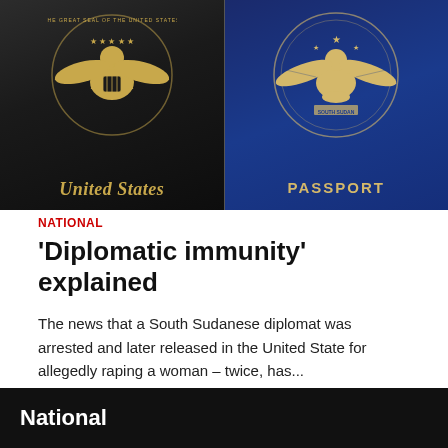[Figure (photo): Two passports side by side: a dark/black United States passport on the left with a gold eagle seal, and a blue passport on the right with a gold emblem and the word PASSPORT printed below it.]
NATIONAL
‘Diplomatic immunity’ explained
The news that a South Sudanese diplomat was arrested and later released in the United State for allegedly raping a woman – twice, has...
19 hours ago
National